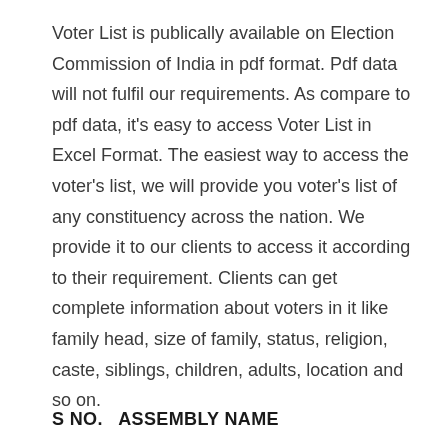Voter List is publically available on Election Commission of India in pdf format. Pdf data will not fulfil our requirements. As compare to pdf data, it’s easy to access Voter List in Excel Format. The easiest way to access the voter’s list, we will provide you voter’s list of any constituency across the nation. We provide it to our clients to access it according to their requirement. Clients can get complete information about voters in it like family head, size of family, status, religion, caste, siblings, children, adults, location and so on.
| S NO. | ASSEMBLY NAME |
| --- | --- |